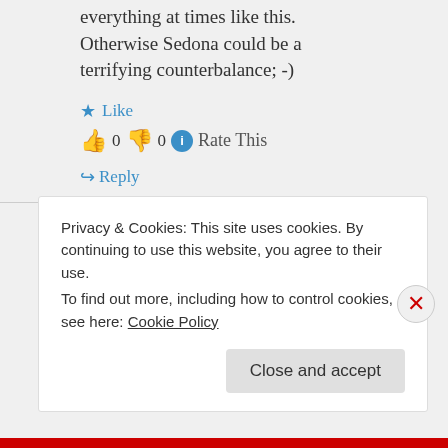everything at times like this. Otherwise Sedona could be a terrifying counterbalance; -)
Like
0  0  Rate This
Reply
List of X on February 26, 2014 at 2:25 am
Privacy & Cookies: This site uses cookies. By continuing to use this website, you agree to their use.
To find out more, including how to control cookies, see here: Cookie Policy